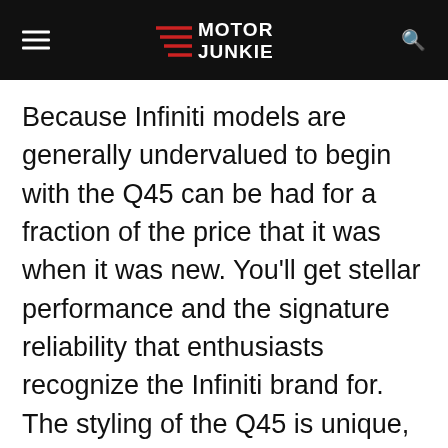Motor Junkie
Because Infiniti models are generally undervalued to begin with the Q45 can be had for a fraction of the price that it was when it was new. You’ll get stellar performance and the signature reliability that enthusiasts recognize the Infiniti brand for. The styling of the Q45 is unique,
Advertisement
[Figure (other): Advertisement banner for Danphone Futronic GMDSS tester with ad image, Ad badge, title, source 'Danphone', and 'Learn More' link]